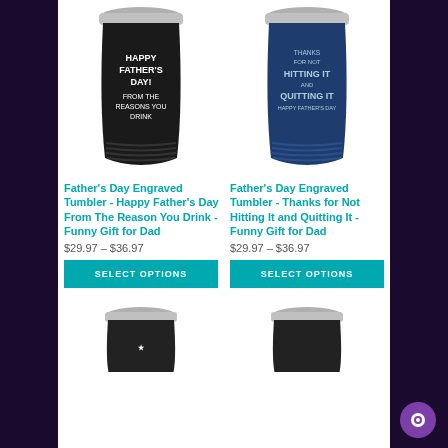[Figure (photo): Black engraved tumbler with text: HAPPY FATHER'S DAY! FROM THE REASONS YOU DRINK]
[Figure (photo): Blue engraved tumbler with text: THANKS FOR NOT HITTING IT AND QUITTING IT HAPPY FATHER'S DAY]
Father's Day Engraved Tumbler - Happy Father's Day From The Reason You Drink - Funny Gift for Dad
Father's Day Engraved Tumbler - Thanks for Not Hitting It and Quitting It - Funny Gift for Dad
$29.97 – $36.97
$29.97 – $36.97
SELECT OPTIONS
SELECT OPTIONS
[Figure (photo): Bottom portion of a dark tumbler, partially cropped]
[Figure (photo): Bottom portion of another dark tumbler, partially cropped]